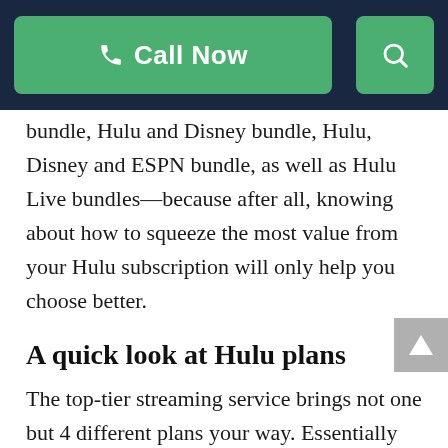Call Now [search icon]
bundle, Hulu and Disney bundle, Hulu, Disney and ESPN bundle, as well as Hulu Live bundles—because after all, knowing about how to squeeze the most value from your Hulu subscription will only help you choose better.
A quick look at Hulu plans
The top-tier streaming service brings not one but 4 different plans your way. Essentially you have 2 versions of the service—one without live TV and the other with it—and both come with and without ads. On Hulu basic plan you also get to